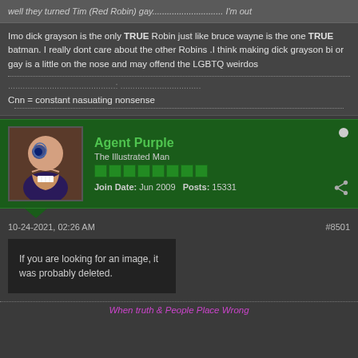well they turned Tim (Red Robin) gay............................. I'm out
Imo dick grayson is the only TRUE Robin just like bruce wayne is the one TRUE batman. I really dont care about the other Robins .I think making dick grayson bi or gay is a little on the nose and may offend the LGBTQ weirdos
Cnn = constant nasuating nonsense
Agent Purple
The Illustrated Man
Join Date: Jun 2009   Posts: 15331
10-24-2021, 02:26 AM
#8501
[Figure (photo): If you are looking for an image, it was probably deleted.]
When truth & People Place Wrong